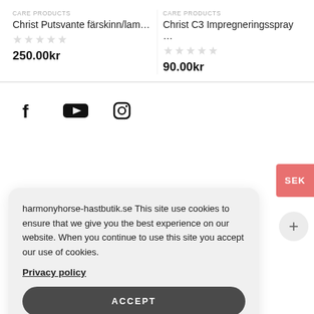CARE PRODUCTS
Christ Putsvante färskinn/lam…
250.00kr
CARE PRODUCTS
Christ C3 Impregneringsspray …
90.00kr
[Figure (infographic): Social media icons: Facebook, YouTube, Instagram]
SEK
+
harmonyhorse-hastbutik.se This site use cookies to ensure that we give you the best experience on our website. When you continue to use this site you accept our use of cookies.
Privacy policy
ACCEPT
English